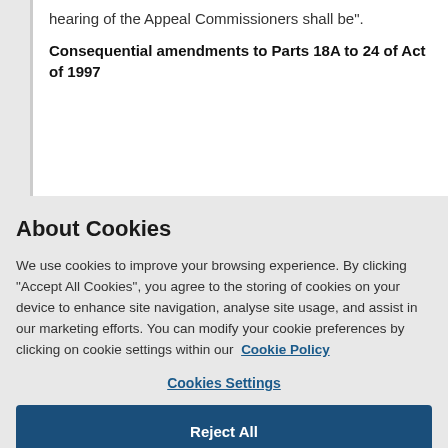hearing of the Appeal Commissioners shall be".
Consequential amendments to Parts 18A to 24 of Act of 1997
About Cookies
We use cookies to improve your browsing experience. By clicking “Accept All Cookies”, you agree to the storing of cookies on your device to enhance site navigation, analyse site usage, and assist in our marketing efforts. You can modify your cookie preferences by clicking on cookie settings within our Cookie Policy
Cookies Settings
Reject All
Accept All Cookies